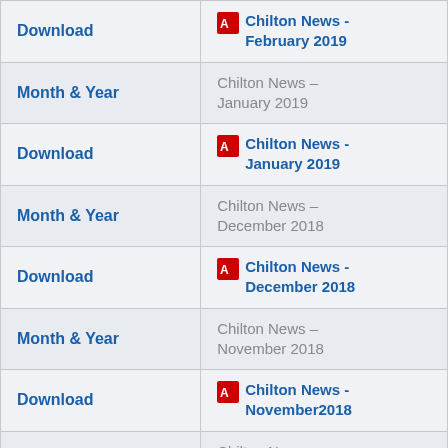| Column 1 | Column 2 |
| --- | --- |
| Download | Chilton News - February 2019 |
| Month & Year | Chilton News – January 2019 |
| Download | Chilton News - January 2019 |
| Month & Year | Chilton News – December 2018 |
| Download | Chilton News - December 2018 |
| Month & Year | Chilton News – November 2018 |
| Download | Chilton News - November2018 |
| Month & Year | Chilton News – October 2018 |
| Download | Chilton N... |